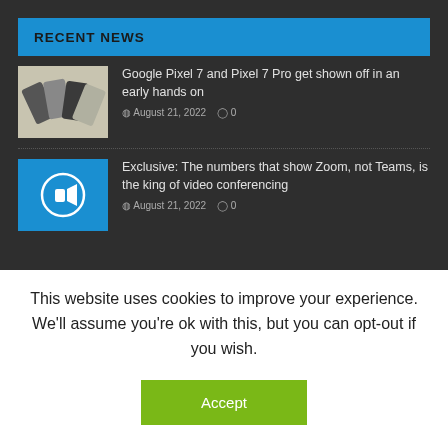RECENT NEWS
Google Pixel 7 and Pixel 7 Pro get shown off in an early hands on
August 21, 2022   0
Exclusive: The numbers that show Zoom, not Teams, is the king of video conferencing
August 21, 2022   0
This website uses cookies to improve your experience. We'll assume you're ok with this, but you can opt-out if you wish.
Accept